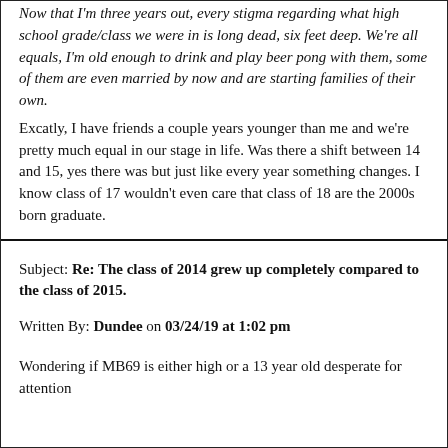Now that I'm three years out, every stigma regarding what high school grade/class we were in is long dead, six feet deep. We're all equals, I'm old enough to drink and play beer pong with them, some of them are even married by now and are starting families of their own. Excatly, I have friends a couple years younger than me and we're pretty much equal in our stage in life. Was there a shift between 14 and 15, yes there was but just like every year something changes. I know class of 17 wouldn't even care that class of 18 are the 2000s born graduate.
Subject: Re: The class of 2014 grew up completely compared to the class of 2015.
Written By: Dundee on 03/24/19 at 1:02 pm
Wondering if MB69 is either high or a 13 year old desperate for attention